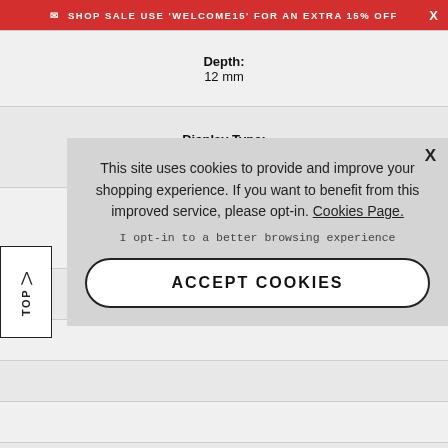SHOP SALE USE 'WELCOME15' FOR AN EXTRA 15% OFF
| Depth: | 12 mm |
| Display Type: | Digital |
| Case Material: | Carbon/Resin |
| Movement: |  |
|  |  |
|  |  |
|  |  |
|  |  |
This site uses cookies to provide and improve your shopping experience. If you want to benefit from this improved service, please opt-in. Cookies Page.
I opt-in to a better browsing experience
ACCEPT COOKIES